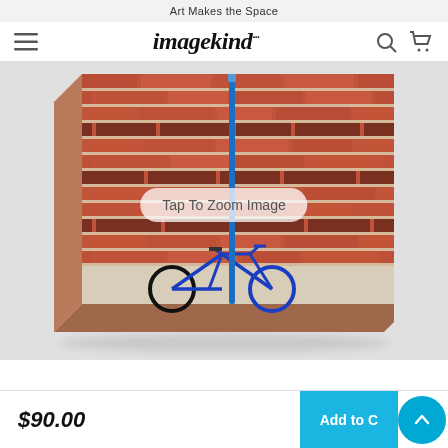Art Makes the Space
[Figure (logo): imagekind logo with hamburger menu, search and cart icons]
[Figure (photo): Canvas wrap print product image showing a blue bicycle leaning against a red brick wall with a blue pole, with 'Tap To Zoom Image' overlay button]
$90.00
Add to Cart